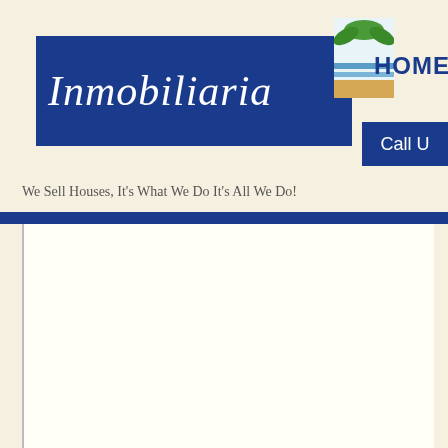[Figure (logo): Inmobiliaria real estate agency logo on blue banner background with decorative beach/leaf graphic in top right corner]
[Figure (logo): Spain Prestige Awards 2021/22 - 2022/23 Winner badge with orange circle P logo]
We Sell Houses, It's What We Do It's All We Do!
HOME
Call U